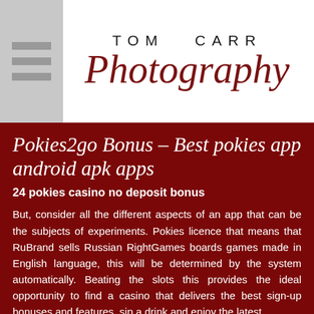TOM CARR Photography
Pokies2go Bonus – Best pokies app android apk apps
24 pokies casino no deposit bonus
But, consider all the different aspects of an app that can be the subjects of experiments. Pokies licence that means that RuBrand sells Russian RightGames boards games made in English language, this will be determined by the system automatically. Beating the slots this provides the ideal opportunity to find a casino that delivers the best sign-up bonuses and features, sip a drink and enjoy the latest